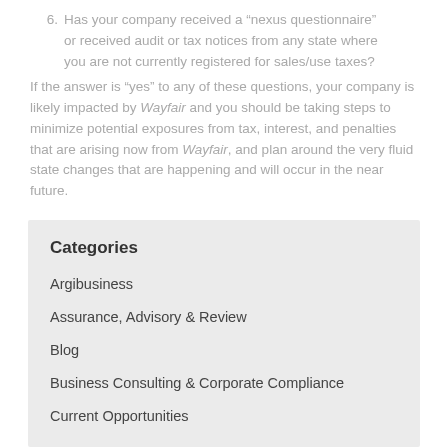6. Has your company received a “nexus questionnaire” or received audit or tax notices from any state where you are not currently registered for sales/use taxes?
If the answer is “yes” to any of these questions, your company is likely impacted by Wayfair and you should be taking steps to minimize potential exposures from tax, interest, and penalties that are arising now from Wayfair, and plan around the very fluid state changes that are happening and will occur in the near future.
Categories
Argibusiness
Assurance, Advisory & Review
Blog
Business Consulting & Corporate Compliance
Current Opportunities